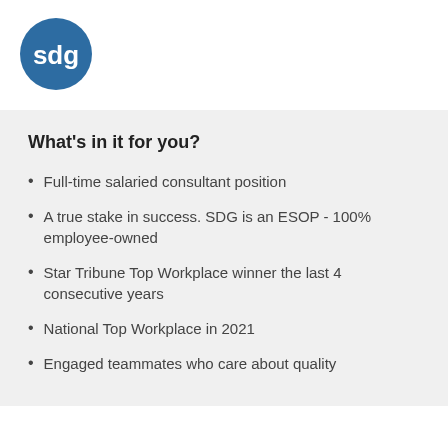[Figure (logo): SDG company logo: white lowercase letters 'sdg' on a dark blue circle]
What's in it for you?
Full-time salaried consultant position
A true stake in success. SDG is an ESOP - 100% employee-owned
Star Tribune Top Workplace winner the last 4 consecutive years
National Top Workplace in 2021
Engaged teammates who care about quality solutions